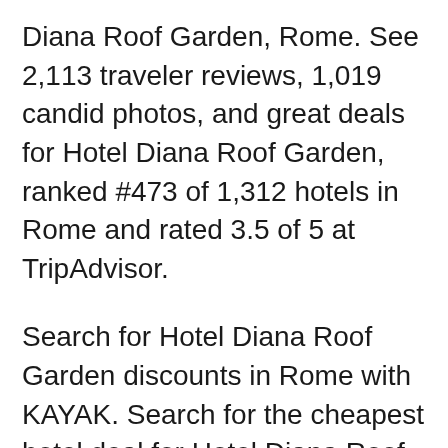Diana Roof Garden, Rome. See 2,113 traveler reviews, 1,019 candid photos, and great deals for Hotel Diana Roof Garden, ranked #473 of 1,312 hotels in Rome and rated 3.5 of 5 at TripAdvisor.
Search for Hotel Diana Roof Garden discounts in Rome with KAYAK. Search for the cheapest hotel deal for Hotel Diana Roof Garden in Rome. KAYAK searches hundreds of travel sites to help you find and book the hotel deal at Hotel Diana Roof Garden that suits you best. $148 per night (Latest starting price for this hotel) - Save up to 25%. Hotel Diana Roof Garden, Rome, Italy. 3,673 likes B· 30 talking about this B· 10,294 were here. Benvenuti! Per